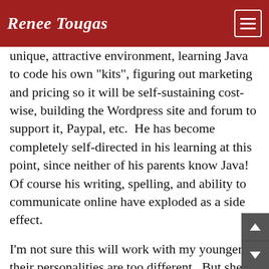Renee Tougas
unique, attractive environment, learning Java to code his own "kits", figuring out marketing and pricing so it will be self-sustaining cost-wise, building the Wordpress site and forum to support it, Paypal, etc.  He has become completely self-directed in his learning at this point, since neither of his parents know Java!  Of course his writing, spelling, and ability to communicate online have exploded as a side effect.
I'm not sure this will work with my younger - their personalities are too different.  But she improved her math skills and her spelling significantly